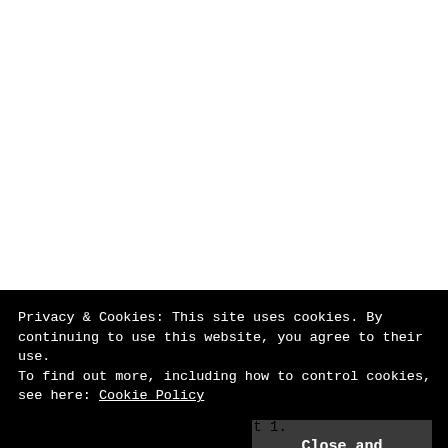Privacy & Cookies: This site uses cookies. By continuing to use this website, you agree to their use.
To find out more, including how to control cookies, see here: Cookie Policy
Close and accept
can all see in GOTG on August 1.